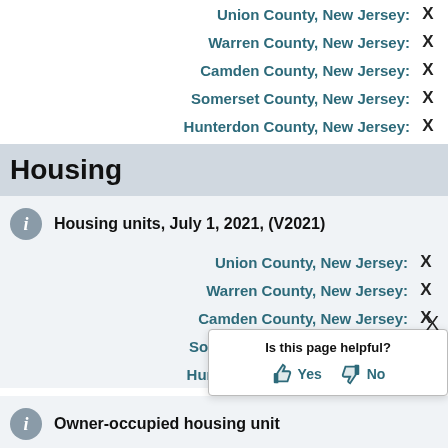Union County, New Jersey: X
Warren County, New Jersey: X
Camden County, New Jersey: X
Somerset County, New Jersey: X
Hunterdon County, New Jersey: X
Housing
Housing units, July 1, 2021, (V2021)
Union County, New Jersey: X
Warren County, New Jersey: X
Camden County, New Jersey: X
Somerset County, New Jersey: X
Hunterdon County, New Jersey: X
Owner-occupied housing unit
Is this page helpful? Yes No